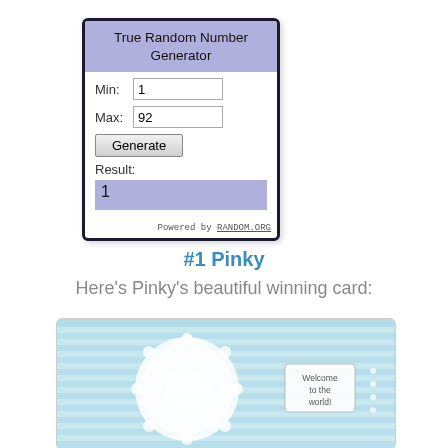[Figure (screenshot): True Random Number Generator widget showing Min: 1, Max: 92, Generate button, Result: 1, Powered by RANDOM.ORG]
#1 Pinky
Here's Pinky's beautiful winning card:
[Figure (photo): Photo of a handmade card with light blue textured background, white embossed doily-like design, and a small square label reading 'Welcome to the world']